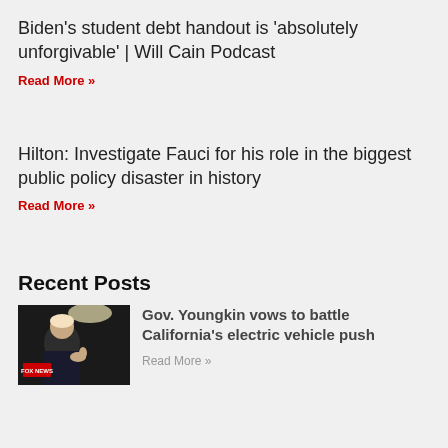Biden's student debt handout is 'absolutely unforgivable' | Will Cain Podcast
Read More »
Hilton: Investigate Fauci for his role in the biggest public policy disaster in history
Read More »
Recent Posts
[Figure (photo): Photo of Gov. Youngkin, dark background with light overhead]
Gov. Youngkin vows to battle California's electric vehicle push
Read More »